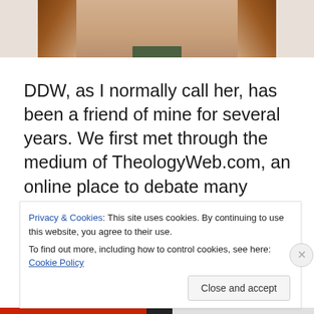[Figure (photo): Partial photo of a woman with red/auburn hair, cropped to show face and upper body with a green collar visible at bottom]
DDW, as I normally call her, has been a friend of mine for several years. We first met through the medium of TheologyWeb.com, an online place to debate many issues, including apologetics issues as TheologyWeb has a number of atheists and non-Christians that post there, some of whom I understand even contribute financially to
Privacy & Cookies: This site uses cookies. By continuing to use this website, you agree to their use.
To find out more, including how to control cookies, see here: Cookie Policy
Close and accept